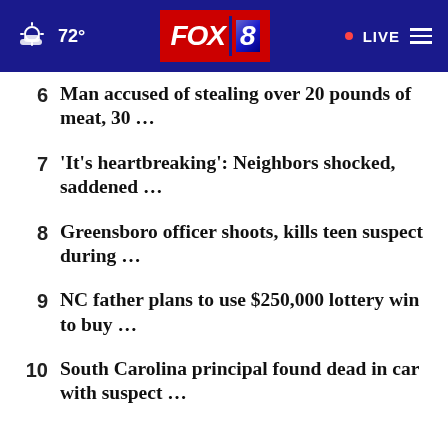FOX 8 | 72° | LIVE
6  Man accused of stealing over 20 pounds of meat, 30 …
7  'It's heartbreaking': Neighbors shocked, saddened …
8  Greensboro officer shoots, kills teen suspect during …
9  NC father plans to use $250,000 lottery win to buy …
10  South Carolina principal found dead in car with suspect …